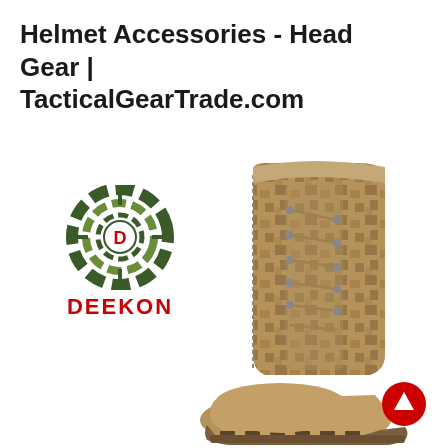Helmet Accessories - Head Gear | TacticalGearTrade.com
[Figure (logo): DEEKON brand logo: circular camouflage target design with letter D in center, and DEEKON text in red below]
[Figure (photo): Military tactical boot in desert camouflage pattern (digital camo) with tan suede toe cap and lace-up front, shown from the side]